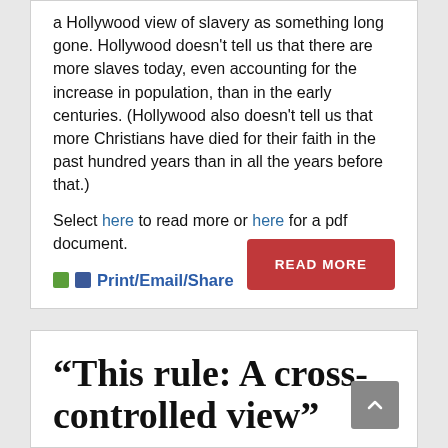a Hollywood view of slavery as something long gone. Hollywood doesn't tell us that there are more slaves today, even accounting for the increase in population, than in the early centuries. (Hollywood also doesn't tell us that more Christians have died for their faith in the past hundred years than in all the years before that.)
Select here to read more or here for a pdf document.
Print/Email/Share
READ MORE
“This rule: A cross-controlled view”